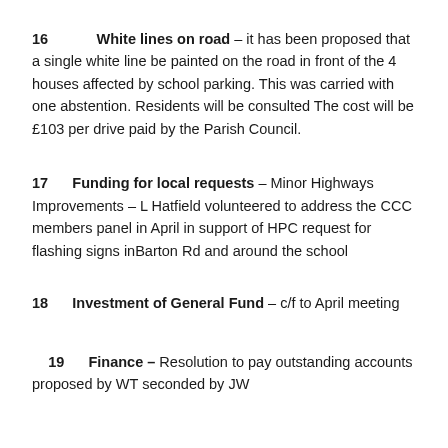16   White lines on road – it has been proposed that a single white line be painted on the road in front of the 4 houses affected by school parking.  This was carried with one abstention.  Residents will be consulted  The cost will be £103 per drive paid by the Parish Council.
17   Funding for local requests – Minor Highways Improvements – L Hatfield volunteered to address the CCC members panel in April in support of HPC request for flashing signs inBarton Rd and around the school
18   Investment of General Fund – c/f to April meeting
19   Finance – Resolution to pay outstanding accounts proposed by WT seconded by JW